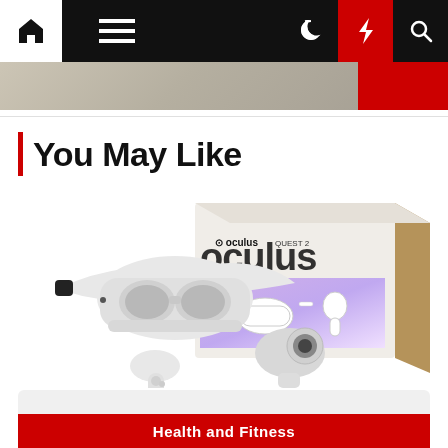Navigation bar with home, menu, dark mode, lightning/breaking news, and search icons
[Figure (photo): Partial hero image strip at top of page]
You May Like
[Figure (photo): Oculus Quest 2 VR headset product photo showing the headset, two controllers, and the product box]
Health and Fitness